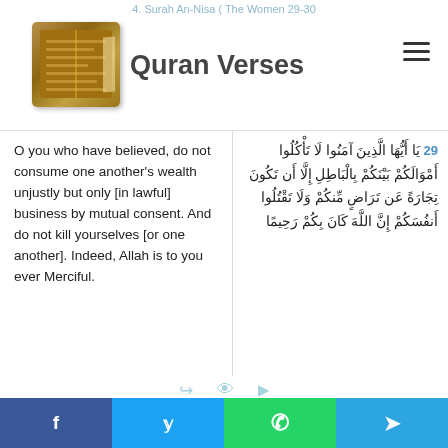4. Surah An-Nisa ( The Women 29-30
Quran Verses
O you who have believed, do not consume one another's wealth unjustly but only [in lawful] business by mutual consent. And do not kill yourselves [or one another]. Indeed, Allah is to you ever Merciful.
29 يَا أَيُّهَا الَّذِينَ آمَنُوا لَا تَأْكُلُوا أَمْوَالَكُمْ بَيْنَكُمْ بِالْبَاطِلِ إِلَّا أَن تَكُونَ تِجَارَةً عَن تَرَاضٍ مِّنكُمْ وَلَا تَقْتُلُوا أَنفُسَكُمْ إِنَّ اللَّهَ كَانَ بِكُمْ رَحِيمًا
[Figure (infographic): Share/view/play icons row in light blue]
And whoever does that in aggression and injustice – then We will drive him into a Fire. And that, for Allah, is [always] easy.
30 وَمَن يَفْعَلْ ذَٰلِكَ عُدْوَانًا وَظُلْمًا فَسَوْفَ نُصْلِيهِ نَارًا وَكَانَ ذَٰلِكَ عَلَى اللَّهِ يَسِيرًا
f  y  WhatsApp  Telegram